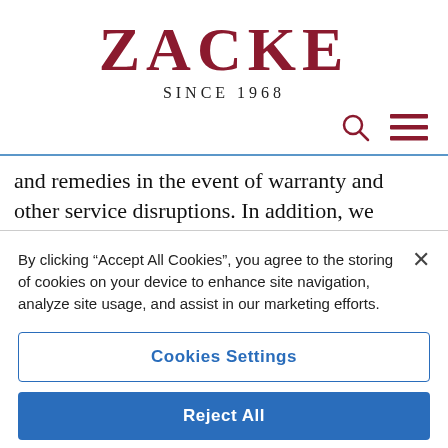ZACKE
SINCE 1968
and remedies in the event of warranty and other service disruptions. In addition, we process the data to protect our rights and for the purpose of administrative tasks associated with these obligations and company
By clicking “Accept All Cookies”, you agree to the storing of cookies on your device to enhance site navigation, analyze site usage, and assist in our marketing efforts.
Cookies Settings
Reject All
Accept All Cookies